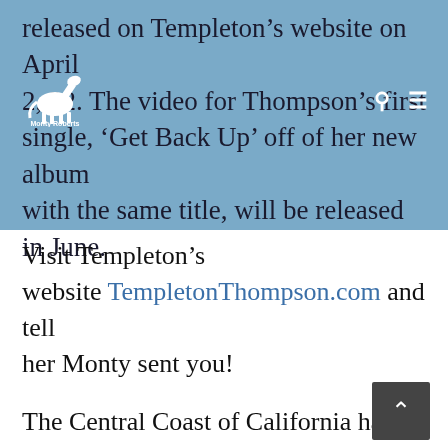released on Templeton's website on April 2, 22. The video for Thompson's first single, 'Get Back Up' off of her new album with the same title, will be released in June.
Visit Templeton's website TempletonThompson.com and tell her Monty sent you!
The Central Coast of California has all the natural attributes that draw in the novice and the professional horsepersons alike. Its rolling hills with rows of wine grapes and ancient oaks is a place where settlers, visitors, and even their horses can have it all!
Monty Roberts built his famous